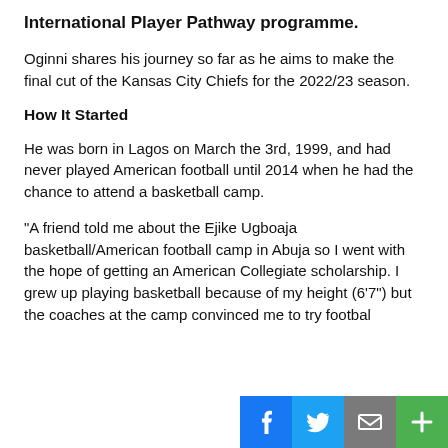International Player Pathway programme.
Oginni shares his journey so far as he aims to make the final cut of the Kansas City Chiefs for the 2022/23 season.
How It Started
He was born in Lagos on March the 3rd, 1999, and had never played American football until 2014 when he had the chance to attend a basketball camp.
“A friend told me about the Ejike Ugboaja basketball/American football camp in Abuja so I went with the hope of getting an American Collegiate scholarship. I grew up playing basketball because of my height (6’7”) but the coaches at the camp convinced me to try footbal[l the]...